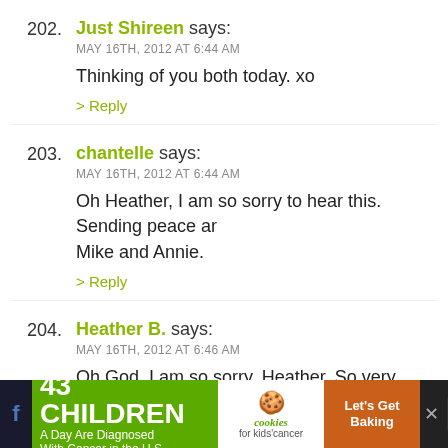202. Just Shireen says: MAY 16TH, 2012 AT 6:44 AM
Thinking of you both today. xo
> Reply
203. chantelle says: MAY 16TH, 2012 AT 6:44 AM
Oh Heather, I am so sorry to hear this. Sending peace and love to you, Mike and Annie.
> Reply
204. Heather B. says: MAY 16TH, 2012 AT 6:46 AM
Oh God. I am so sorry, Heather. So very sorry.
> Reply
205. Jess says:
[Figure (screenshot): Advertisement banner: 43 CHILDREN A Day Are Diagnosed With Cancer in the U.S. — cookies for kids' cancer — Let's Get Baking]